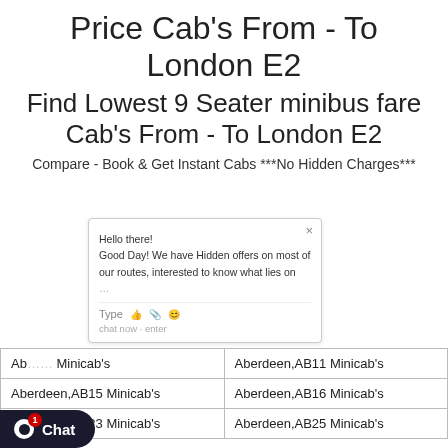Price Cab's From - To London E2
Find Lowest 9 Seater minibus fare Cab's From - To London E2
Compare - Book & Get Instant Cabs ***No Hidden Charges***
[Figure (screenshot): Chat popup widget with message: Hello there! Good Day! We have Hidden offers on most of our routes, interested to know what lies on... with Type bar and emoji icons]
| Ab... Minicab's | Aberdeen,AB11 Minicab's |
| Aberdeen,AB15 Minicab's | Aberdeen,AB16 Minicab's |
| Aberdeen,AB23 Minicab's | Aberdeen,AB25 Minicab's |
[Figure (screenshot): Chat button widget at bottom left, dark background with speech bubble icon and '1' badge notification, label 'Chat']